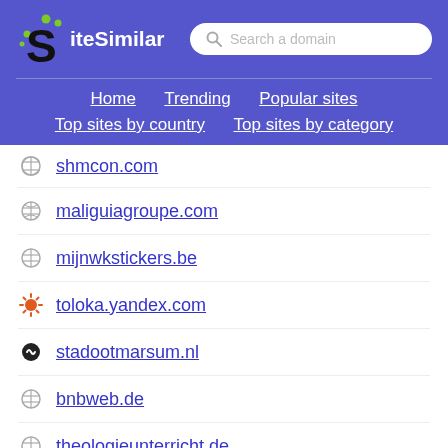[Figure (logo): SiteSimilar logo with green dots and bold S letter]
Search a domain
Home | Trending | Popular sites | Top sites by country | Top sites by category
shmcon.com
maliguiagroupe.com
mijnwkstickers.be
toloka.yandex.com
stadootmarsum.nl
bnbweb.de
theologieunterricht.de
mpisde.ac.in
foodsalesup.com
buddybio.com